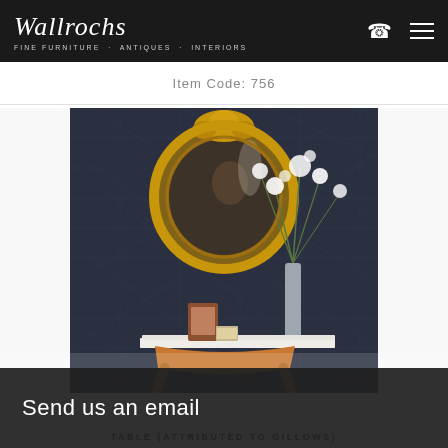Wallrochs - Fine Furniture · Antiques · Interiors
Item Code: 756
[Figure (photo): An ornate gold oval mirror mounted on a dark patterned wall above a wooden console table. On the table are a framed photo, a small item, and a tall glass vase with white flowers. The console table has cabriole legs.]
Send us an email
TABLE (ATTRIBUTED TO GILLOWS)